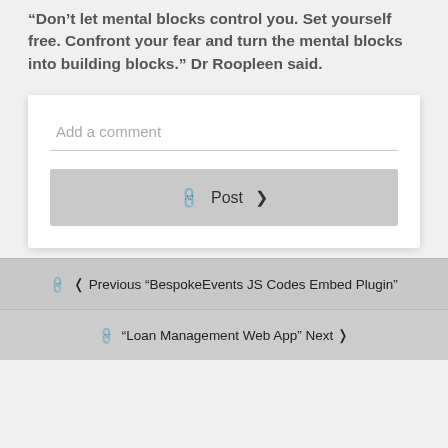“Don’t let mental blocks control you. Set yourself free. Confront your fear and turn the mental blocks into building blocks.” Dr Roopleen said.
[Figure (screenshot): Comment input box with 'Add a comment' placeholder text and a horizontal underline, followed by a grey 'Post' button with a link icon and right chevron.]
[Figure (screenshot): Navigation links: Previous link to 'BespokeEvents JS Codes Embed Plugin' and Next link to 'Loan Management Web App', both in grey bars with link icons.]